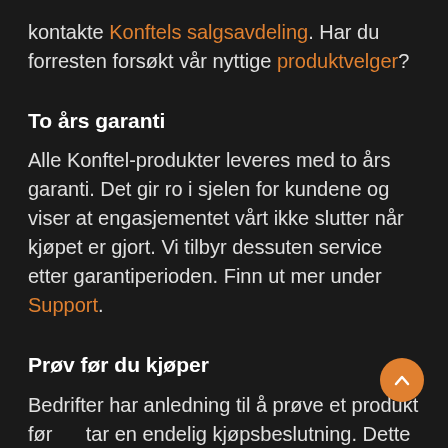kontakte Konftels salgsavdeling. Har du forresten forsøkt vår nyttige produktvelger?
To års garanti
Alle Konftel-produkter leveres med to års garanti. Det gir ro i sjelen for kundene og viser at engasjementet vårt ikke slutter når kjøpet er gjort. Vi tilbyr dessuten service etter garantiperioden. Finn ut mer under Support.
Prøv før du kjøper
Bedrifter har anledning til å prøve et produkt før tar en endelig kjøpsbeslutning. Dette demoalternativet er tilgjengelig på de fleste markeder der Konftel har distribusjon. Legg igjen